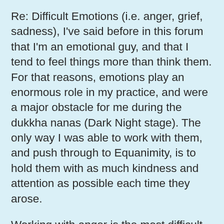Re: Difficult Emotions (i.e. anger, grief, sadness), I've said before in this forum that I'm an emotional guy, and that I tend to feel things more than think them. For that reasons, emotions play an enormous role in my practice, and were a major obstacle for me during the dukkha nanas (Dark Night stage). The only way I was able to work with them, and push through to Equanimity, is to hold them with as much kindness and attention as possible each time they arose.
Working with anger is the most difficult for me. There are neurological and physiological reasons for this. When certain feelings show up, our minds usually respond with either Fight of Flight, and both responses allow little room for